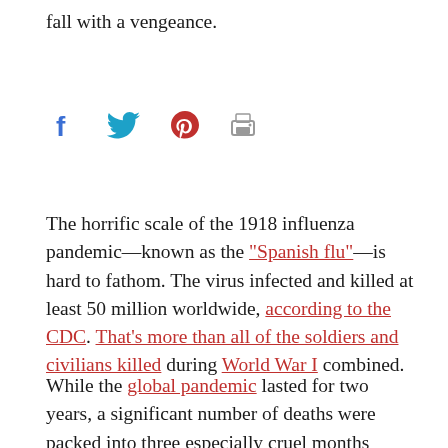fall with a vengeance.
[Figure (infographic): Social sharing icons: Facebook (blue f), Twitter (blue bird), Pinterest (red P), Print (gray printer)]
The horrific scale of the 1918 influenza pandemic—known as the "Spanish flu"—is hard to fathom. The virus infected and killed at least 50 million worldwide, according to the CDC. That's more than all of the soldiers and civilians killed during World War I combined.
While the global pandemic lasted for two years, a significant number of deaths were packed into three especially cruel months